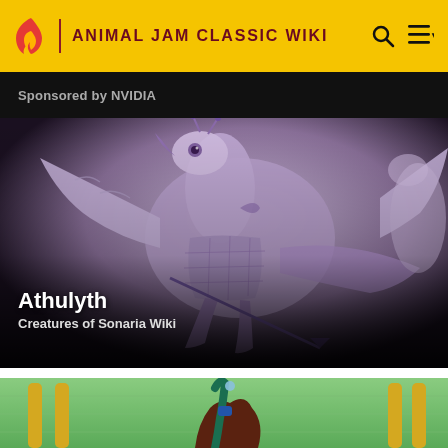ANIMAL JAM CLASSIC WIKI
Sponsored by NVIDIA
[Figure (illustration): Athulyth creature illustration from Creatures of Sonaria Wiki - a large purple/lavender mechanical or armored creature with wings and ornate details, shown against a dark gradient background]
Athulyth
Creatures of Sonaria Wiki
[Figure (illustration): Partial view of a cartoon game screenshot showing a green background with a dark brown/maroon creature and golden decorative elements at bottom]